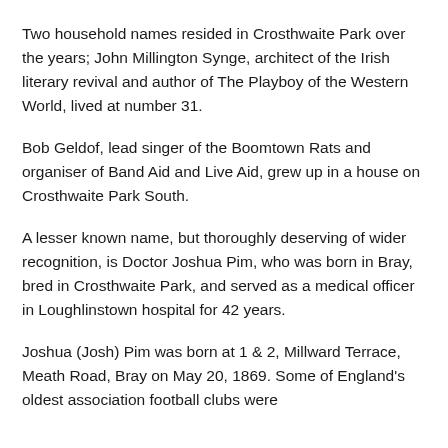Two household names resided in Crosthwaite Park over the years; John Millington Synge, architect of the Irish literary revival and author of The Playboy of the Western World, lived at number 31.
Bob Geldof, lead singer of the Boomtown Rats and organiser of Band Aid and Live Aid, grew up in a house on Crosthwaite Park South.
A lesser known name, but thoroughly deserving of wider recognition, is Doctor Joshua Pim, who was born in Bray, bred in Crosthwaite Park, and served as a medical officer in Loughlinstown hospital for 42 years.
Joshua (Josh) Pim was born at 1 & 2, Millward Terrace, Meath Road, Bray on May 20, 1869. Some of England's oldest association football clubs were